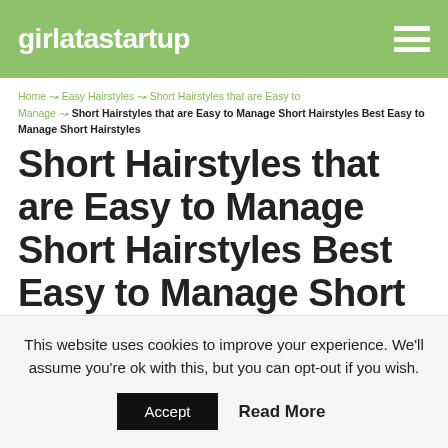girlatastartup
Home ↝ Easy Hairstyles ↝ Short Hairstyles that are Easy to Manage ↝ Short Hairstyles that are Easy to Manage Short Hairstyles Best Easy to Manage Short Hairstyles
Short Hairstyles that are Easy to Manage Short Hairstyles Best Easy to Manage Short Hairstyles
EASY HAIRSTYLES · JUNE 24, 2018
This website uses cookies to improve your experience. We'll assume you're ok with this, but you can opt-out if you wish. Accept Read More